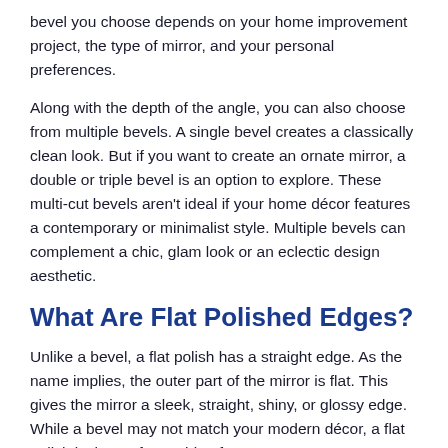bevel you choose depends on your home improvement project, the type of mirror, and your personal preferences.
Along with the depth of the angle, you can also choose from multiple bevels. A single bevel creates a classically clean look. But if you want to create an ornate mirror, a double or triple bevel is an option to explore. These multi-cut bevels aren't ideal if your home décor features a contemporary or minimalist style. Multiple bevels can complement a chic, glam look or an eclectic design aesthetic.
What Are Flat Polished Edges?
Unlike a bevel, a flat polish has a straight edge. As the name implies, the outer part of the mirror is flat. This gives the mirror a sleek, straight, shiny, or glossy edge. While a bevel may not match your modern décor, a flat polish is the perfect pairing for contemporary or